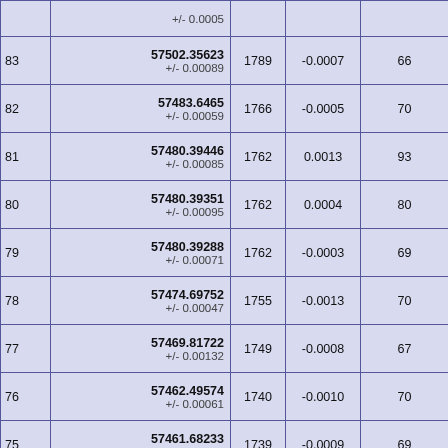|  | Value | Col3 | Col4 | Col5 |
| --- | --- | --- | --- | --- |
|  | +/- 0.0005 |  |  |  |
| 83 | 57502.35623
+/- 0.00089 | 1789 | -0.0007 | 66 |
| 82 | 57483.6465
+/- 0.00059 | 1766 | -0.0005 | 70 |
| 81 | 57480.39446
+/- 0.00085 | 1762 | 0.0013 | 93 |
| 80 | 57480.39351
+/- 0.00095 | 1762 | 0.0004 | 80 |
| 79 | 57480.39288
+/- 0.00071 | 1762 | -0.0003 | 69 |
| 78 | 57474.69752
+/- 0.00047 | 1755 | -0.0013 | 70 |
| 77 | 57469.81722
+/- 0.00132 | 1749 | -0.0008 | 67 |
| 76 | 57462.49574
+/- 0.00061 | 1740 | -0.0010 | 70 |
| 75 | 57461.68233
+/- 0.00089 | 1739 | -0.0009 | 69 |
| 74 |  | 1710 | -0.0010 | 70 |